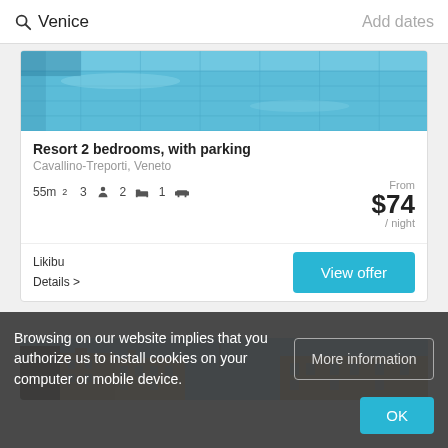Venice   Add dates
[Figure (photo): Top portion of a hotel/resort listing card showing a blue swimming pool area from above]
Resort 2 bedrooms, with parking
Cavallino-Treporti, Veneto
55m²  3 [person icon]  2 [bed icon]  1 [sofa icon]
From $74 / night
Likibu
Details >
View offer
[Figure (photo): Partial view of Venice street with old building facades and blue sky]
Browsing on our website implies that you authorize us to install cookies on your computer or mobile device.
More information
OK